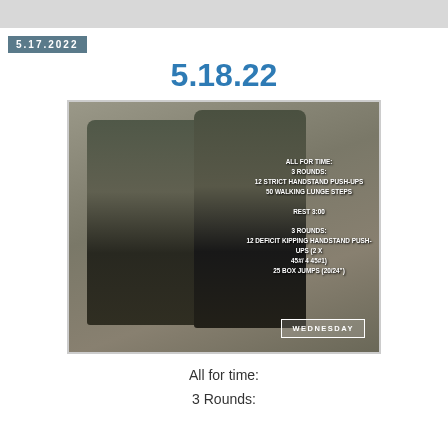5.17.2022
5.18.22
[Figure (photo): Two men wearing matching green KFT logo t-shirts posing together in a gym. Workout text overlay on the right side reads: ALL FOR TIME: 3 ROUNDS: 12 STRICT HANDSTAND PUSH-UPS 50 WALKING LUNGE STEPS REST 3:00 3 ROUNDS: 12 DEFICIT KIPPING HANDSTAND PUSH-UPS (2 X 45#/ 4 45#1) 25 BOX JUMPS (20/24'). A WEDNESDAY label box appears in the lower right.]
All for time:
3 Rounds: